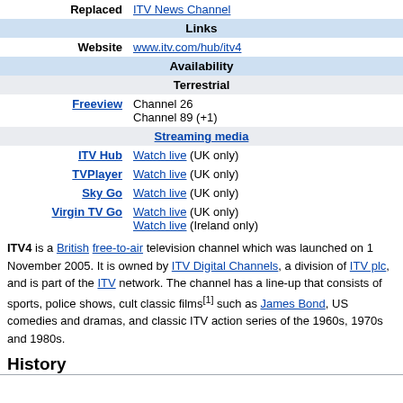| Replaced | ITV News Channel |
| Links |  |
| Website | www.itv.com/hub/itv4 |
| Availability |  |
| Terrestrial |  |
| Freeview | Channel 26
Channel 89 (+1) |
| Streaming media |  |
| ITV Hub | Watch live (UK only) |
| TVPlayer | Watch live (UK only) |
| Sky Go | Watch live (UK only) |
| Virgin TV Go | Watch live (UK only)
Watch live (Ireland only) |
ITV4 is a British free-to-air television channel which was launched on 1 November 2005. It is owned by ITV Digital Channels, a division of ITV plc, and is part of the ITV network. The channel has a line-up that consists of sports, police shows, cult classic films[1] such as James Bond, US comedies and dramas, and classic ITV action series of the 1960s, 1970s and 1980s.
History